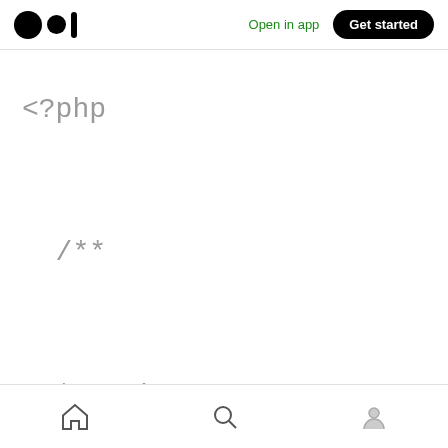Open in app | Get started
<?php

/**

* Hook: woocommerce_archive_description.

*

* @hooked
home search profile